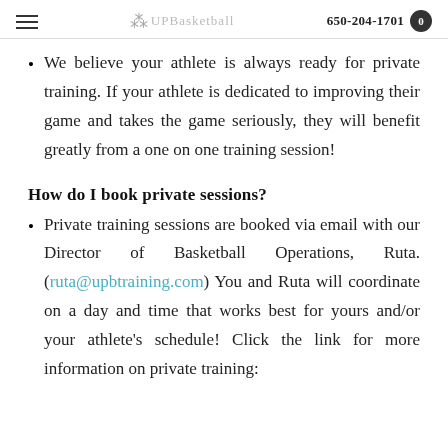UPBasketball  650-204-1701
We believe your athlete is always ready for private training. If your athlete is dedicated to improving their game and takes the game seriously, they will benefit greatly from a one on one training session!
How do I book private sessions?
Private training sessions are booked via email with our Director of Basketball Operations, Ruta. (ruta@upbtraining.com) You and Ruta will coordinate on a day and time that works best for yours and/or your athlete's schedule! Click the link for more information on private training: